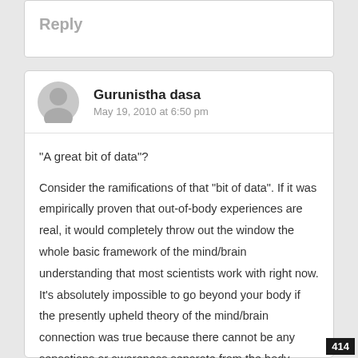Reply
Gurunistha dasa
May 19, 2010 at 6:50 pm
“A great bit of data”?
Consider the ramifications of that “bit of data”. If it was empirically proven that out-of-body experiences are real, it would completely throw out the window the whole basic framework of the mind/brain understanding that most scientists work with right now. It’s absolutely impossible to go beyond your body if the presently upheld theory of the mind/brain connection was true because there cannot be any sensations or awareness separate from the body.
414